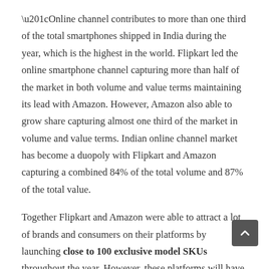“Online channel contributes to more than one third of the total smartphones shipped in India during the year, which is the highest in the world. Flipkart led the online smartphone channel capturing more than half of the market in both volume and value terms maintaining its lead with Amazon. However, Amazon also able to grow share capturing almost one third of the market in volume and value terms. Indian online channel market has become a duopoly with Flipkart and Amazon capturing a combined 84% of the total volume and 87% of the total value.
Together Flipkart and Amazon were able to attract a lot of brands and consumers on their platforms by launching close to 100 exclusive model SKUs throughout the year. However, these platforms will have to adopt multiple strategies from increasing number of serviceable ZIP codes, hybrid offline stores and customer service kiosks to